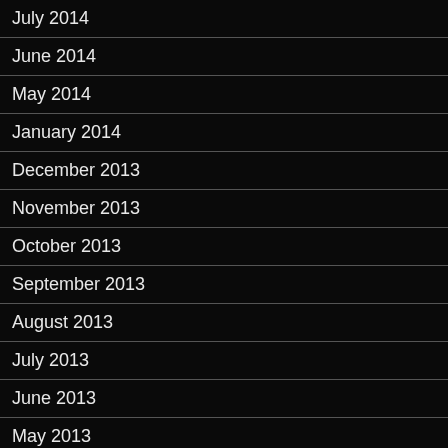July 2014
June 2014
May 2014
January 2014
December 2013
November 2013
October 2013
September 2013
August 2013
July 2013
June 2013
May 2013
April 2013